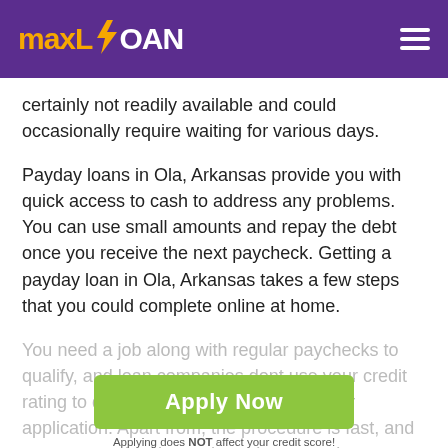maxLOAN
certainly not readily available and could occasionally require waiting for various days.
Payday loans in Ola, Arkansas provide you with quick access to cash to address any problems. You can use small amounts and repay the debt once you receive the next paycheck. Getting a payday loan in Ola, Arkansas takes a few steps that you could complete online at home.
You need a job along with regular paychecks to qualify, and loan companies dont use your credit rating to decide if in order to approve your application. Apart from, the procedure is fast, and you can receive the cash on the same day or within 24 hours.
[Figure (other): Green Apply Now button with text 'Apply Now' and subtitle 'Applying does NOT affect your credit score! No credit check to apply.']